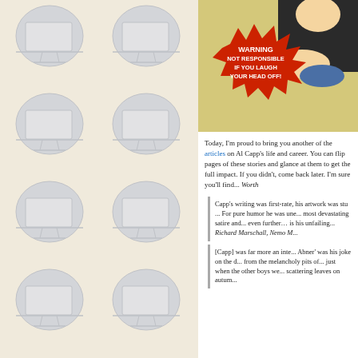[Figure (illustration): Decorative tiled pattern of monitor/screen icons on a beige/cream background, occupying the left half of the page]
[Figure (illustration): Comic book style image with a red starburst warning label reading: WARNING NOT RESPONSIBLE IF YOU LAUGH YOUR HEAD OFF!]
Today, I'm proud to bring you another of the articles on Al Capp's life and career. You can flip pages of these stories and glance at them to get the full impact. If you didn't, come back later. I'm sure you'll find... Worth
Capp's writing was first-rate, his artwork was superb, his artwork was stu... For pure humor he was une... most devastating satire and... even further… is his unfailing... Richard Marschall, Nemo M...
[Capp] was far more an inte... Abner' was his joke on the ... from the melancholy pits of... just when the other boys we... scattering leaves on autum...